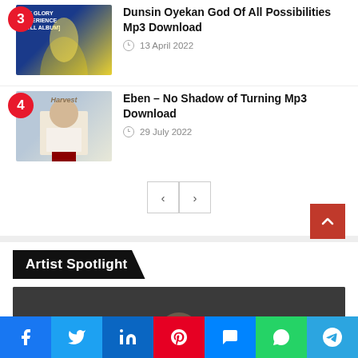Dunsin Oyekan God Of All Possibilities Mp3 Download
Eben – No Shadow of Turning Mp3 Download
Artist Spotlight
[Figure (photo): Artist photo, partial head visible, dark background]